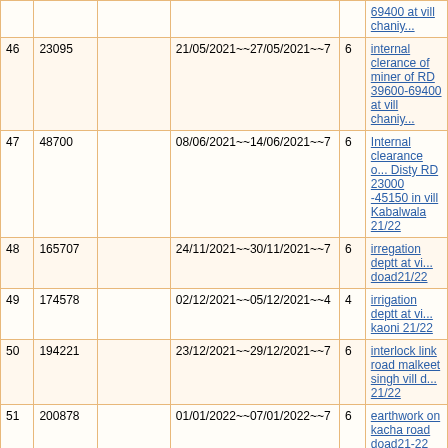| # | ID |  | Dates | Days | Description |
| --- | --- | --- | --- | --- | --- |
| 46 | 23095 |  | 21/05/2021~~27/05/2021~~7 | 6 | internal clerance of miner of RD 39600-69400 at vill chaniy... |
| 47 | 48700 |  | 08/06/2021~~14/06/2021~~7 | 6 | Internal clearance of Disty RD 23000-45150 in vill Kabalwala 21/22 |
| 48 | 165707 |  | 24/11/2021~~30/11/2021~~7 | 6 | irregation deptt at vi... doad21/22 |
| 49 | 174578 |  | 02/12/2021~~05/12/2021~~4 | 4 | irrigation deptt at vi... kaoni 21/22 |
| 50 | 194221 |  | 23/12/2021~~29/12/2021~~7 | 6 | interlock link road malkeet singh vill d... 21/22 |
| 51 | 200878 |  | 01/01/2022~~07/01/2022~~7 | 6 | earthwork on kacha road doad21-22 |
| 52 | 210441 |  | 11/01/2022~~17/01/2022~~7 | 6 | earthwork on kacha road doad21-22 |
| 53 | 216305 |  | 18/01/2022~~24/01/2022~~7 | 6 | earthwork on kacha road doad21-22 |
| 54 | 219669 |  | 26/01/2022~~01/02/2022~~7 | 6 | earthwork on kacha road doad21-22 |
| 55 | 231160 |  | 26/02/2022~~04/03/2022~~7 | 6 | earthwork on kacha road doad21-22 |
| 56 | 23721 |  | 24/05/2022~~30/05/2022~~7 | 6 | Golewala disty from 39600-69400 in vil... |